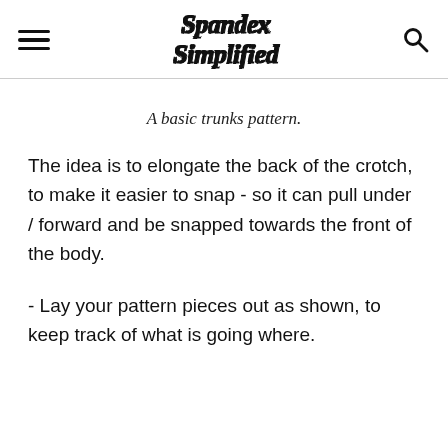Spandex Simplified
A basic trunks pattern.
The idea is to elongate the back of the crotch, to make it easier to snap - so it can pull under / forward and be snapped towards the front of the body.
- Lay your pattern pieces out as shown, to keep track of what is going where.